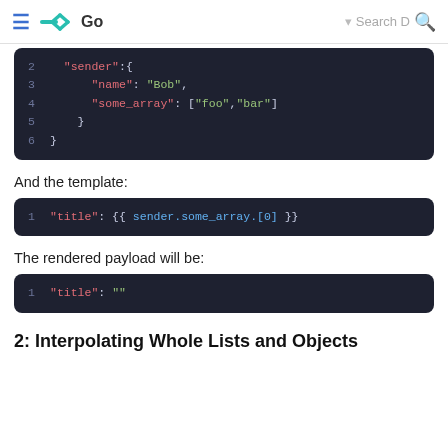Go
[Figure (screenshot): Code block showing JSON lines 2-6 with sender object containing name Bob and some_array]
And the template:
[Figure (screenshot): Code block line 1: "title": {{ sender.some_array.[0] }}]
The rendered payload will be:
[Figure (screenshot): Code block line 1: "title": ""]
2: Interpolating Whole Lists and Objects